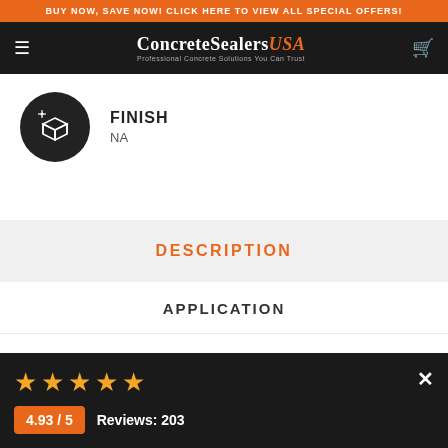BUY NOW, SAVE NOW! CLICK HERE TO VIEW ALL SPECIAL OFFERS!
ConcreteSealers USA - Professional Concrete Solutions You Can Trust
FINISH
NA
DESCRIPTION
APPLICATION
TECHNICAL
4.93 / 5  Reviews: 203